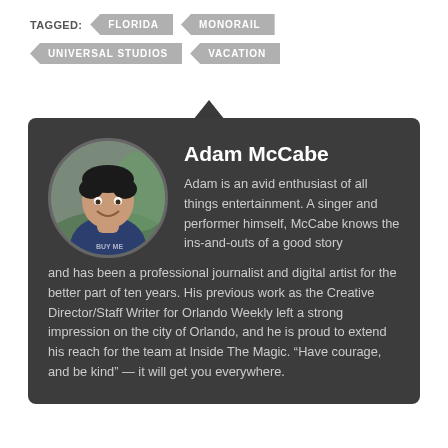TAGGED: FLORIDA MONORAIL UNIVERSAL STUDIOS VACATION
[Figure (photo): Author bio card with dark background. Contains a circular photo of Adam McCabe (a man in a navy blue t-shirt smiling), his name as a heading, and a biography text paragraph.]
Adam McCabe
Adam is an avid enthusiast of all things entertainment. A singer and performer himself, McCabe knows the ins-and-outs of a good story and has been a professional journalist and digital artist for the better part of ten years. His previous work as the Creative Director/Staff Writer for Orlando Weekly left a strong impression on the city of Orlando, and he is proud to extend his reach for the team at Inside The Magic. “Have courage, and be kind” — it will get you everywhere.